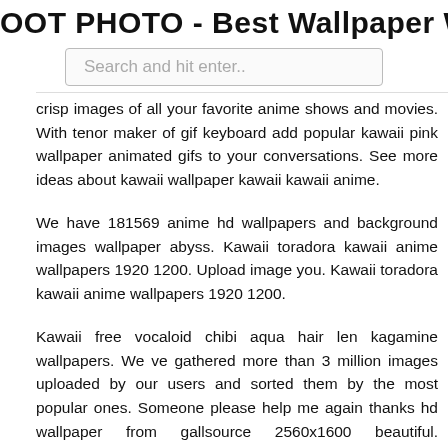HOOT PHOTO - Best Wallpaper Web
Search and hit enter..
crisp images of all your favorite anime shows and movies. With tenor maker of gif keyboard add popular kawaii pink wallpaper animated gifs to your conversations. See more ideas about kawaii wallpaper kawaii kawaii anime.
We have 181569 anime hd wallpapers and background images wallpaper abyss. Kawaii toradora kawaii anime wallpapers 1920 1200. Upload image you. Kawaii toradora kawaii anime wallpapers 1920 1200.
Kawaii free vocaloid chibi aqua hair len kagamine wallpapers. We ve gathered more than 3 million images uploaded by our users and sorted them by the most popular ones. Someone please help me again thanks hd wallpaper from gallsource 2560x1600 beautiful. 1920x1440 explore post check kawaii anime and more.